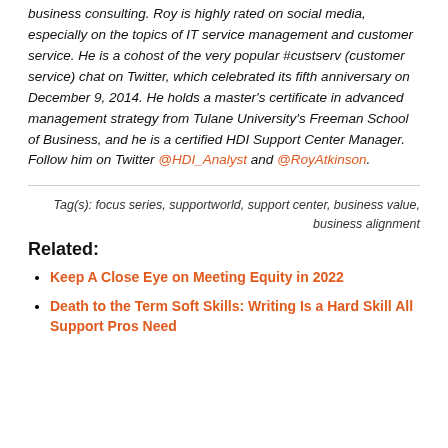business consulting. Roy is highly rated on social media, especially on the topics of IT service management and customer service. He is a cohost of the very popular #custserv (customer service) chat on Twitter, which celebrated its fifth anniversary on December 9, 2014. He holds a master's certificate in advanced management strategy from Tulane University's Freeman School of Business, and he is a certified HDI Support Center Manager. Follow him on Twitter @HDI_Analyst and @RoyAtkinson.
Tag(s): focus series, supportworld, support center, business value, business alignment
Related:
Keep A Close Eye on Meeting Equity in 2022
Death to the Term Soft Skills: Writing Is a Hard Skill All Support Pros Need